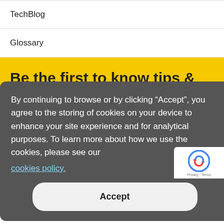TechBlog
Glossary
Be the first to know tips & tricks on business application development!
By continuing to browse or by clicking “Accept”, you agree to the storing of cookies on your device to enhance your site experience and for analytical purposes. To learn more about how we use the cookies, please see our cookies policy.
Accept